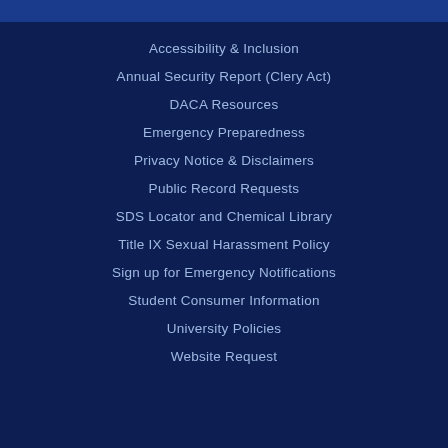Accessibility & Inclusion
Annual Security Report (Clery Act)
DACA Resources
Emergency Preparedness
Privacy Notice & Disclaimers
Public Record Requests
SDS Locator and Chemical Library
Title IX Sexual Harassment Policy
Sign up for Emergency Notifications
Student Consumer Information
University Policies
Website Request